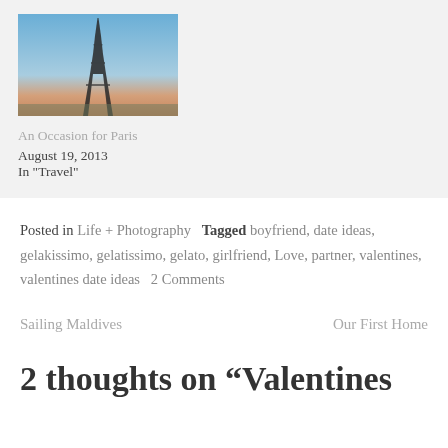[Figure (photo): Photo of the Eiffel Tower against a clear blue sky at dusk, with a warm gradient horizon]
An Occasion for Paris
August 19, 2013
In "Travel"
Posted in Life + Photography  Tagged boyfriend, date ideas, gelakissimo, gelatissimo, gelato, girlfriend, Love, partner, valentines, valentines date ideas  2 Comments
Sailing Maldives
Our First Home
2 thoughts on “Valentines